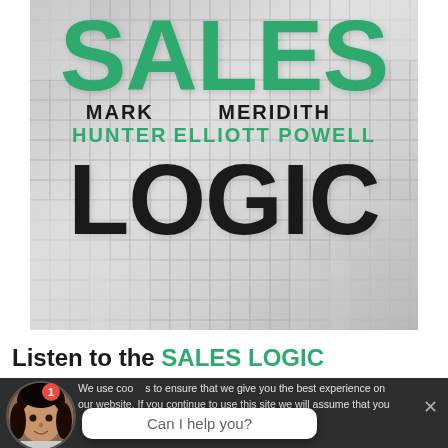[Figure (illustration): Book cover for 'Sales Logic' by Mark Hunter and Meridith Elliott Powell. Large green 'SALES' text at top, authors' names in black and green, large black 'LOGIC' text at bottom, maze-like grey background.]
Listen to the SALES LOGIC
We use cookies to ensure that we give you the best experience on our website. If you continue to use this site we will assume that you are happy with it.
Can I help you?